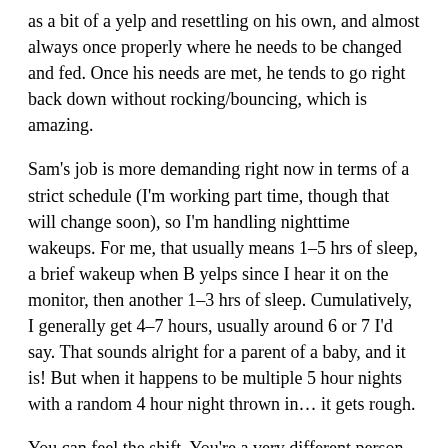as a bit of a yelp and resettling on his own, and almost always once properly where he needs to be changed and fed. Once his needs are met, he tends to go right back down without rocking/bouncing, which is amazing.
Sam's job is more demanding right now in terms of a strict schedule (I'm working part time, though that will change soon), so I'm handling nighttime wakeups. For me, that usually means 1–5 hrs of sleep, a brief wakeup when B yelps since I hear it on the monitor, then another 1–3 hrs of sleep. Cumulatively, I generally get 4–7 hours, usually around 6 or 7 I'd say. That sounds alright for a parent of a baby, and it is! But when it happens to be multiple 5 hour nights with a random 4 hour night thrown in… it gets rough.
You can feel the shift. You're a very different person on not enough sleep than you are on 7–8 hours a night. I get short, blank, forgetful.